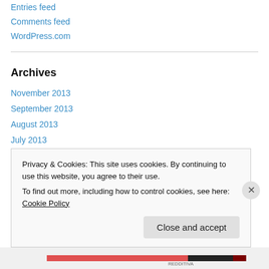Entries feed
Comments feed
WordPress.com
Archives
November 2013
September 2013
August 2013
July 2013
June 2013
May 2013
Privacy & Cookies: This site uses cookies. By continuing to use this website, you agree to their use. To find out more, including how to control cookies, see here: Cookie Policy
Close and accept